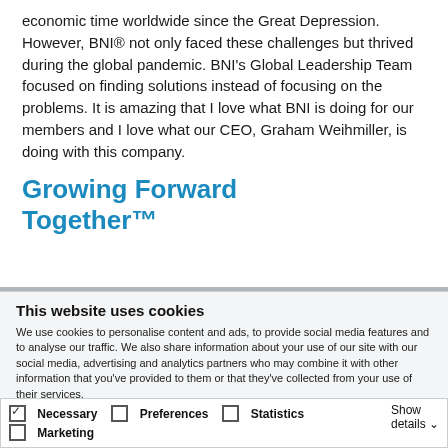economic time worldwide since the Great Depression. However, BNI® not only faced these challenges but thrived during the global pandemic. BNI's Global Leadership Team focused on finding solutions instead of focusing on the problems. It is amazing that I love what BNI is doing for our members and I love what our CEO, Graham Weihmiller, is doing with this company.
Growing Forward Together™
This website uses cookies
We use cookies to personalise content and ads, to provide social media features and to analyse our traffic. We also share information about your use of our site with our social media, advertising and analytics partners who may combine it with other information that you've provided to them or that they've collected from your use of their services.